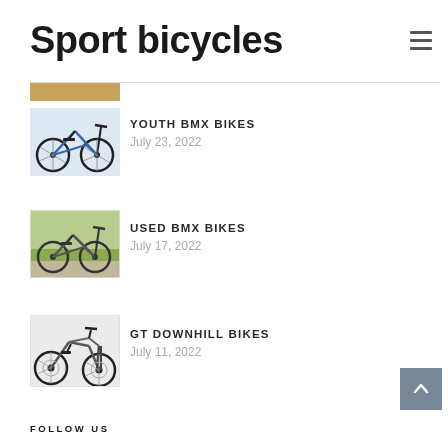Sport bicycles
[Figure (photo): Partial photo visible at top, brownish/wood background]
[Figure (photo): Blue youth BMX bike on white background]
YOUTH BMX BIKES
July 23, 2022
[Figure (photo): Used BMX bike on grass/patio background]
USED BMX BIKES
July 17, 2022
[Figure (photo): GT downhill mountain bike on white background]
GT DOWNHILL BIKES
July 11, 2022
FOLLOW US